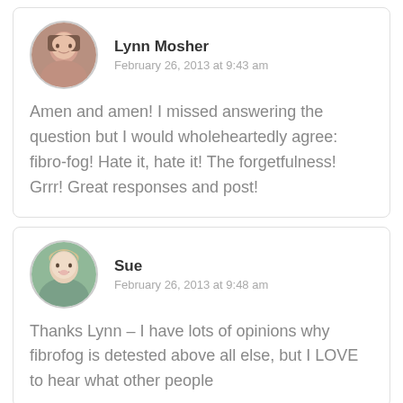Lynn Mosher
February 26, 2013 at 9:43 am
Amen and amen! I missed answering the question but I would wholeheartedly agree: fibro-fog! Hate it, hate it! The forgetfulness! Grrr! Great responses and post!
Sue
February 26, 2013 at 9:48 am
Thanks Lynn – I have lots of opinions why fibrofog is detested above all else, but I LOVE to hear what other people